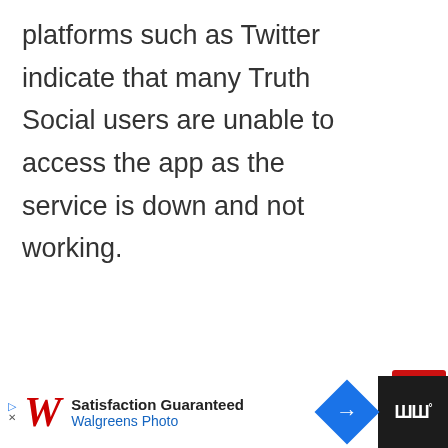platforms such as Twitter indicate that many Truth Social users are unable to access the app as the service is down and not working.
#TruthSocial is down. (Source)
[Figure (screenshot): Red up-arrow button, heart/like button with count 82, and share button on right sidebar]
[Figure (screenshot): Advertisement bar: Walgreens Photo - Satisfaction Guaranteed ad with blue diamond icon, and dark panel with Wi symbol]